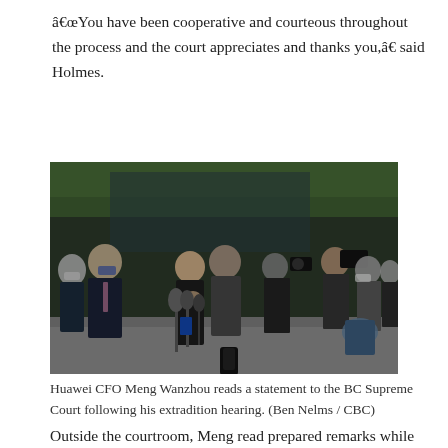“You have been cooperative and courteous throughout the process and the court appreciates and thanks you,” said Holmes.
[Figure (photo): Huawei CFO Meng Wanzhou stands at a microphone podium reading a statement outside, surrounded by officials and a large crowd of journalists and photographers.]
Huawei CFO Meng Wanzhou reads a statement to the BC Supreme Court following his extradition hearing. (Ben Nelms / CBC)
Outside the courtroom, Meng read prepared remarks while flanked